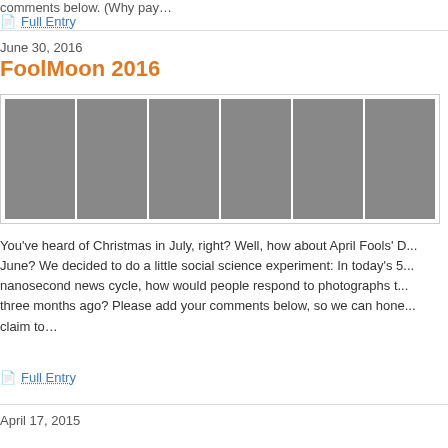comments below. (Why pay...
Full Entry
June 30, 2016
FoolMoon 2016
[Figure (photo): A collage of six photos from FoolMoon 2016 event showing illuminated art installations, crowds, and colorful light displays at night.]
You've heard of Christmas in July, right? Well, how about April Fools' D... June? We decided to do a little social science experiment: In today's 5... nanosecond news cycle, how would people respond to photographs t... three months ago? Please add your comments below, so we can hone... claim to...
Full Entry
April 17, 2015